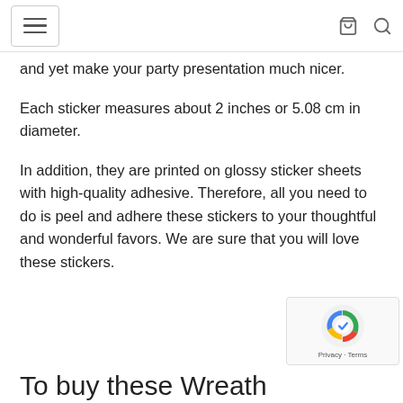[hamburger menu] [cart icon] [search icon]
and yet make your party presentation much nicer.
Each sticker measures about 2 inches or 5.08 cm in diameter.
In addition, they are printed on glossy sticker sheets with high-quality adhesive. Therefore, all you need to do is peel and adhere these stickers to your thoughtful and wonderful favors. We are sure that you will love these stickers.
To buy these Wreath